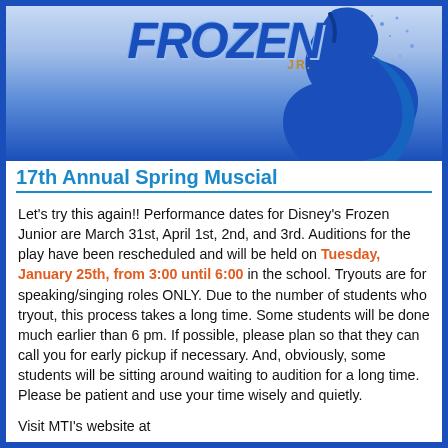[Figure (illustration): Frozen JR musical logo with silhouette of a character in a blue cloak against a blue gradient background]
17th Annual Spring Muscial
Let's try this again!! Performance dates for Disney's Frozen Junior are March 31st, April 1st, 2nd, and 3rd. Auditions for the play have been rescheduled and will be held on Tuesday, January 25th, from 3:00 until 6:00 in the school. Tryouts are for speaking/singing roles ONLY. Due to the number of students who tryout, this process takes a long time. Some students will be done much earlier than 6 pm. If possible, please plan so that they can call you for early pickup if necessary. And, obviously, some students will be sitting around waiting to audition for a long time. Please be patient and use your time wisely and quietly.
Visit MTI's website at